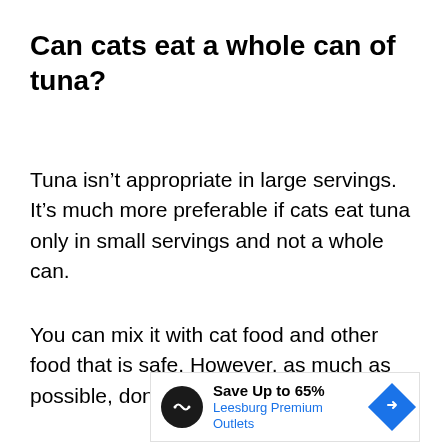Can cats eat a whole can of tuna?
Tuna isn’t appropriate in large servings. It’s much more preferable if cats eat tuna only in small servings and not a whole can.
You can mix it with cat food and other food that is safe. However, as much as possible, don’t let your pet eat a whole
[Figure (other): Advertisement banner: Save Up to 65% Leesburg Premium Outlets, with a circular logo and a blue diamond navigation icon]